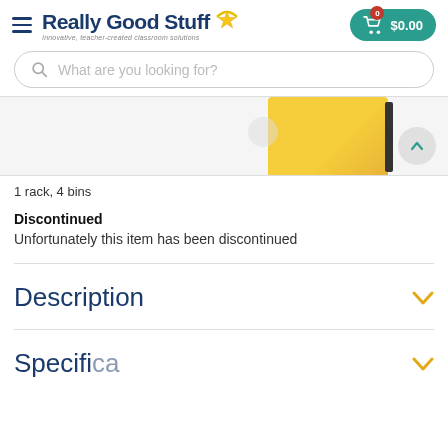Really Good Stuff — Innovative, teacher-created classroom solutions
What are you looking for?
[Figure (photo): Product image strip showing a yellow bin/rack organizer with an up-arrow scroll button on the right]
1 rack, 4 bins
Discontinued
Unfortunately this item has been discontinued
Description
Specifications